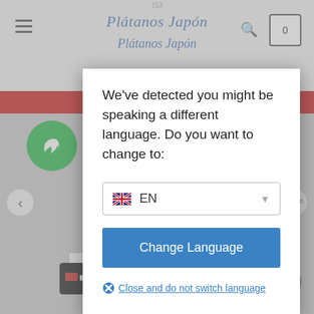[Figure (screenshot): Website background showing Plátanos Japón store header with navigation, red bar, green WhatsApp icon, slider navigation arrows, certifications section, and bottom icons]
We've detected you might be speaking a different language. Do you want to change to:
[Figure (other): Language selector dropdown showing EN with UK flag and dropdown arrow]
Change Language
Close and do not switch language